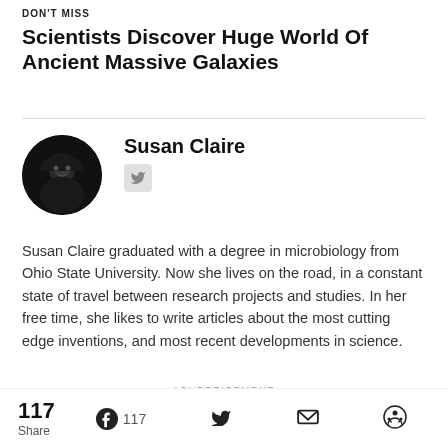DON'T MISS
Scientists Discover Huge World Of Ancient Massive Galaxies
Susan Claire
[Figure (photo): Circular profile photo of Susan Claire, dark image of a person in a hoodie against a dark background]
[Figure (illustration): Twitter/X bird icon in a rounded square, light gray background]
Susan Claire graduated with a degree in microbiology from Ohio State University. Now she lives on the road, in a constant state of travel between research projects and studies. In her free time, she likes to write articles about the most cutting edge inventions, and most recent developments in science.
ADVERTISEMENT
Recommended for You
117 Share
117